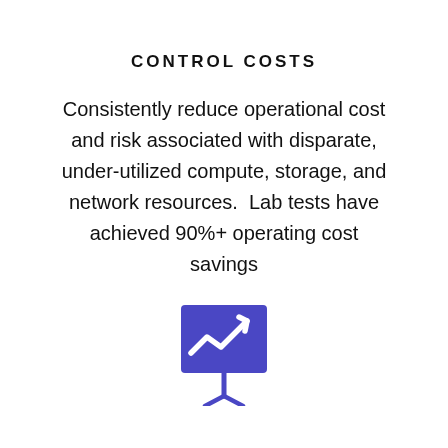CONTROL COSTS
Consistently reduce operational cost and risk associated with disparate, under-utilized compute, storage, and network resources.  Lab tests have achieved 90%+ operating cost savings
[Figure (illustration): Blue icon of a presentation board/chart with an upward trending line (analytics/cost savings icon) on a tripod stand]